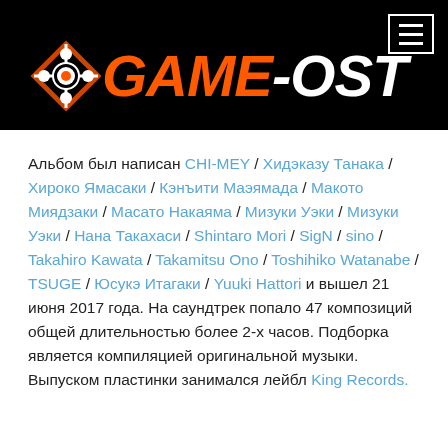[Figure (logo): GAME-OST website logo on black background with menu hamburger button]
Альбом был написан CHI-MEY / Хидэказу Танака / Хироко Ямасаки / Кэнъити Маэямада / Макото Миядзаки / Масато Накаяма / Мизуки Уэки / Мизуки Уэки / Нана Такахаси / Shintaro Mori / SigN / sino / Takahiro Kawata / Takamitsu Ono / Toshihiko Watanabe / TSUGE / Юсукэ Итагаки / Yuuki Hattori и вышел 21 июня 2017 года. На саундтрек попало 47 композиций общей длительностью более 2-х часов. Подборка является компиляцией оригинальной музыки. Выпуском пластинки занимался лейбл King Records.